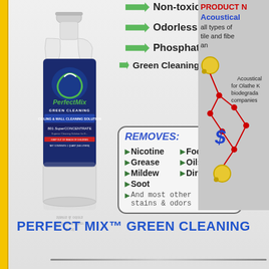Non-toxic
Odorless
Phosphate Free
Green Cleaning Products
[Figure (photo): PerfectMix Green Cleaning 801 Super Concentrate ceiling and wall cleaning solution bottle, 1 quart]
[Figure (infographic): Removes box listing: Nicotine, Food, Grease, Oils, Mildew, Dirt, Soot, And most other stains & odors]
[Figure (illustration): Right panel showing partial product names, Acoustical text in blue, red neuron-like illustration with yellow nodes]
PERFECT MIX™ GREEN CLEANING